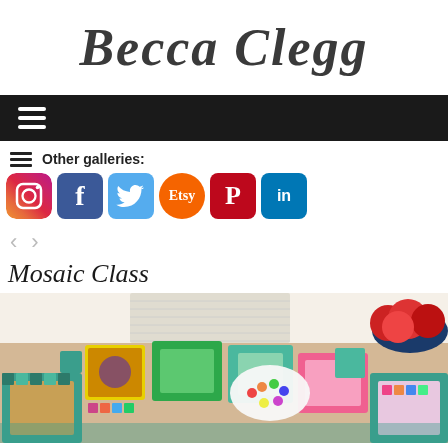Becca Clegg
[Figure (screenshot): Navigation bar with hamburger menu icon on dark background]
Other galleries:
[Figure (screenshot): Social media icons row: Instagram, Facebook, Twitter, Etsy, Pinterest, LinkedIn]
[Figure (screenshot): Left and right navigation arrows]
Mosaic Class
[Figure (photo): Photo of colorful mosaic art pieces laid out on a table, including frames, boxes, and decorative items with tiles in green, blue, pink, and yellow. A bowl of red apples is visible in the top right corner.]